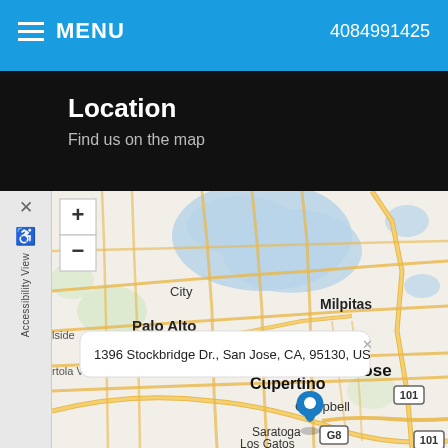MENU  4084991425
Location
Find us on the map
[Figure (map): Interactive map showing the San Jose, CA area including Palo Alto, Milpitas, Cupertino, Campbell, Saratoga, and Los Gatos. A location pin marks 1396 Stockbridge Dr., San Jose, CA, 95130, US with a popup tooltip showing the address.]
1396 Stockbridge Dr., San Jose, CA, 95130, US